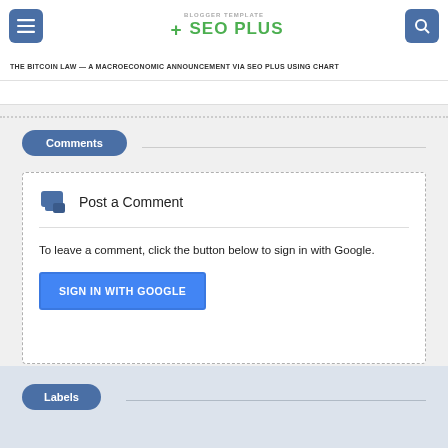THE BITCOIN LAW — A MACROECONOMIC ANNOUNCEMENT VIA SEO PLUS USING CHART
Comments
Post a Comment
To leave a comment, click the button below to sign in with Google.
SIGN IN WITH GOOGLE
Labels